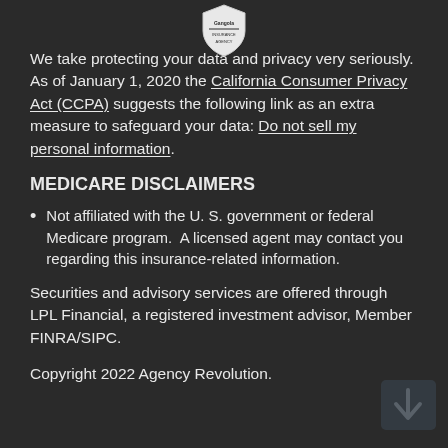[Figure (logo): Gangola Insurance Agency shield logo at top center]
We take protecting your data and privacy very seriously. As of January 1, 2020 the California Consumer Privacy Act (CCPA) suggests the following link as an extra measure to safeguard your data: Do not sell my personal information.
MEDICARE DISCLAIMERS
Not affiliated with the U. S. government or federal Medicare program.  A licensed agent may contact you regarding this insurance-related information.
Securities and advisory services are offered through LPL Financial, a registered investment advisor, Member FINRA/SIPC.
Copyright 2022 Agency Revolution.